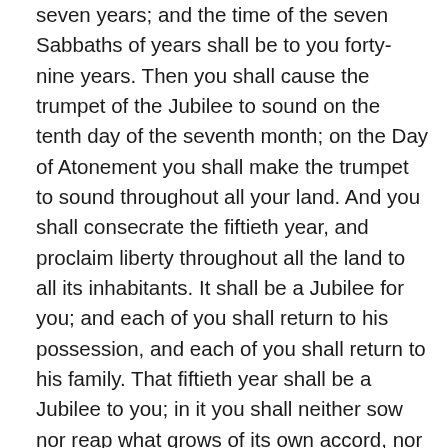seven years; and the time of the seven Sabbaths of years shall be to you forty-nine years. Then you shall cause the trumpet of the Jubilee to sound on the tenth day of the seventh month; on the Day of Atonement you shall make the trumpet to sound throughout all your land. And you shall consecrate the fiftieth year, and proclaim liberty throughout all the land to all its inhabitants. It shall be a Jubilee for you; and each of you shall return to his possession, and each of you shall return to his family. That fiftieth year shall be a Jubilee to you; in it you shall neither sow nor reap what grows of its own accord, nor gather the grapes of your untended vine. For it is the Jubilee; it shall be holy to you; you shall eat its produce from the field. In this Year of Jubilee, each of you shall return to his possession. And if you sell anything to your neighbor or buy from your neighbor’s hand, you shall not oppress one